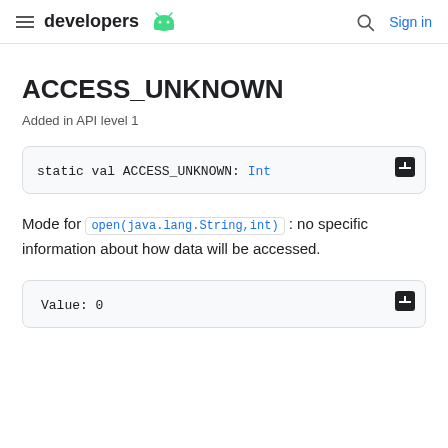developers [android logo] | [search] Sign in
ACCESS_UNKNOWN
Added in API level 1
static val ACCESS_UNKNOWN: Int
Mode for open(java.lang.String,int): no specific information about how data will be accessed.
Value: 0